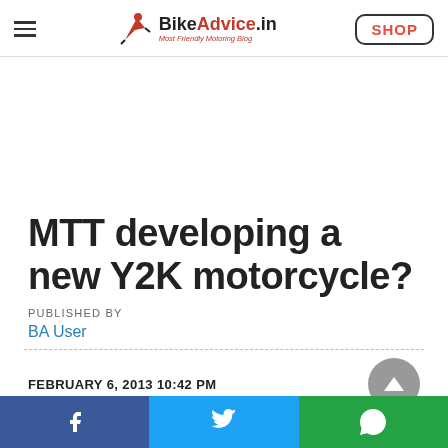BikeAdvice.in — Most Friendly Motoring Blog
MTT developing a new Y2K motorcycle?
PUBLISHED BY
BA User
FEBRUARY 6, 2013 10:42 PM